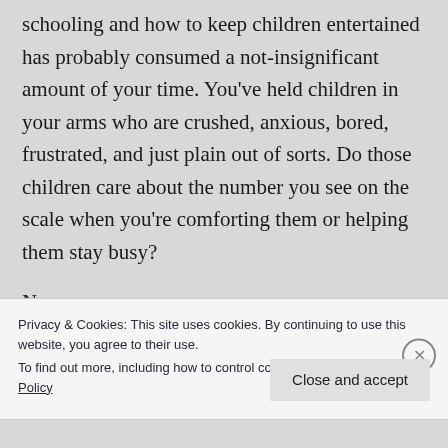schooling and how to keep children entertained has probably consumed a not-insignificant amount of your time.  You've held children in your arms who are crushed, anxious, bored, frustrated, and just plain out of sorts.  Do those children care about the number you see on the scale when you're comforting them or helping them stay busy?
No.
You are working through a time where the way many holidays are celebrated has changed drastically. Not to
Privacy & Cookies: This site uses cookies. By continuing to use this website, you agree to their use.
To find out more, including how to control cookies, see here: Cookie Policy